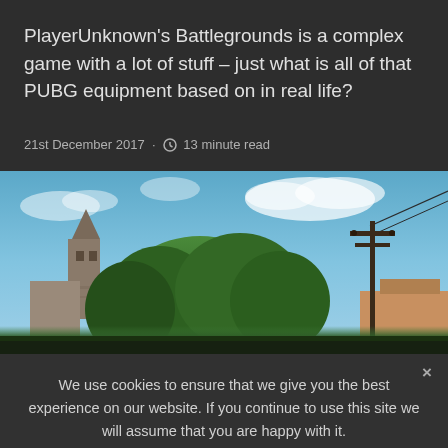PlayerUnknown's Battlegrounds is a complex game with a lot of stuff – just what is all of that PUBG equipment based on in real life?
21st December 2017 · 🕐 13 minute read
[Figure (photo): Screenshot from PlayerUnknown's Battlegrounds showing a town scene with a church/bell tower on the left, large trees in the center, telephone poles on the right, and a blue sky with clouds.]
We use cookies to ensure that we give you the best experience on our website. If you continue to use this site we will assume that you are happy with it.